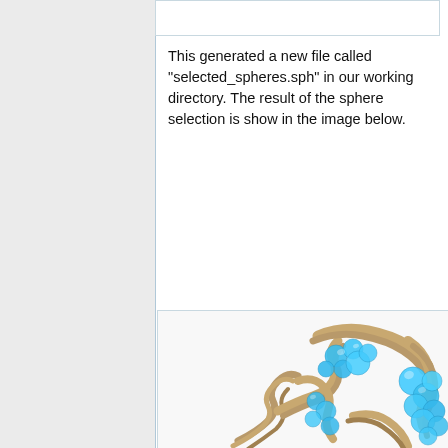[Figure (screenshot): Code snippet box partially visible at the top of the right panel]
This generated a new file called "selected_spheres.sph" in our working directory. The result of the sphere selection is show in the image below.
[Figure (illustration): 3D molecular visualization showing a protein ribbon structure in tan/gold color with cyan/blue spheres representing selected sphere regions clustered around the protein]